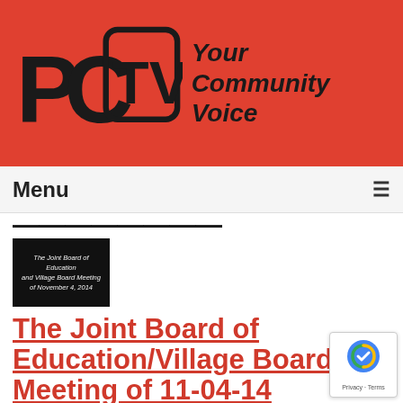[Figure (logo): PCTV logo with text 'PC TV' in bold black letters and tagline 'Your Community Voice' in italic bold black on red background]
Menu
[Figure (screenshot): Partial header text (partially visible, cut off at top)]
[Figure (photo): Black thumbnail image with white italic text reading: The Joint Board of Education and Village Board Meeting of November 4, 2014]
The Joint Board of Education/Village Board Meeting of 11-04-14
Airdate: 11/04/2014